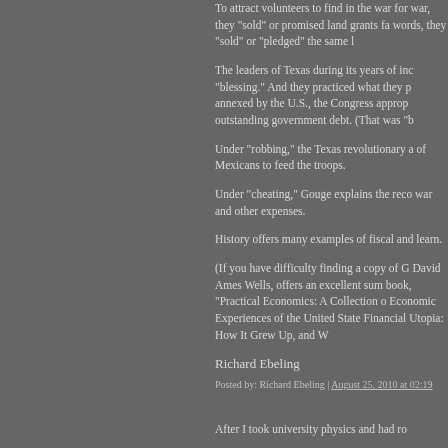To attract volunteers to find in the war for war, they "sold" or promised land grants fa words, they "sold" or "pledged" the same l
The leaders of Texas during its years of inc "blessing." And they practiced what they p annexed by the U.S., the Congress approp outstanding government debt. (That was "b
Under "robbing," the Texas revolutionary a of Mexicans to feed the troops.
Under "cheating," Gouge explains the reco war and other expenses.
History offers many examples of fiscal and learn.
(If you have difficulty finding a copy of G David Ames Wells, offers an excellent sum book, "Practical Economics: A Collection o Economic Experiences of the United State Financial Utopia: How It Grew Up, and W
Richard Ebeling
Posted by: Richard Ebeling | August 25, 2010 at 02:19
After I took university physics and had ro